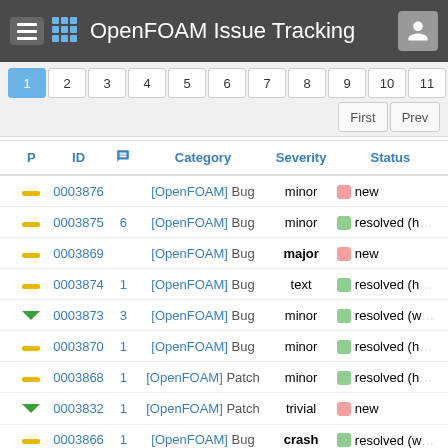OpenFOAM Issue Tracking
|  | P | ID | 💬 | Category | Severity | Status |
| --- | --- | --- | --- | --- | --- | --- |
|  | — | 0003876 |  | [OpenFOAM] Bug | minor | 🔴 new |
|  | — | 0003875 | 6 | [OpenFOAM] Bug | minor | 🟢 resolved (h… |
|  | — | 0003869 |  | [OpenFOAM] Bug | major | 🔴 new |
|  | — | 0003874 | 1 | [OpenFOAM] Bug | text | 🟢 resolved (h… |
|  | ▼ | 0003873 | 3 | [OpenFOAM] Bug | minor | 🟢 resolved (w… |
|  | — | 0003870 | 1 | [OpenFOAM] Bug | minor | 🟢 resolved (h… |
|  | — | 0003868 | 1 | [OpenFOAM] Patch | minor | 🟢 resolved (h… |
|  | ▼ | 0003832 | 1 | [OpenFOAM] Patch | trivial | 🔴 new |
|  | — | 0003866 | 1 | [OpenFOAM] Bug | crash | 🟢 resolved (w… |
|  |  | 0003857 | 8 | [OpenFOAM] Bug | minor | 🔴 new |